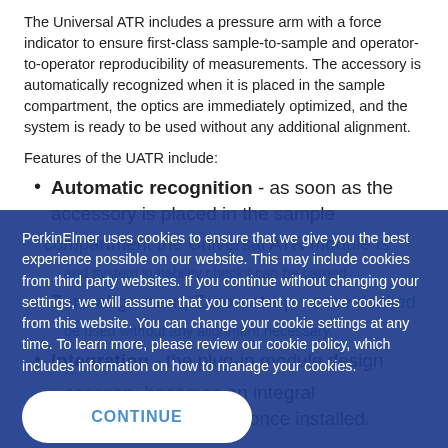The Universal ATR includes a pressure arm with a force indicator to ensure first-class sample-to-sample and operator-to-operator reproducibility of measurements. The accessory is automatically recognized when it is placed in the sample compartment, the optics are immediately optimized, and the system is ready to be used without any additional alignment.
Features of the UATR include:
Automatic recognition - as soon as the accessory is placed in the sample compartment the Universal ATR module is automatically recognized, the optics are optimized, and system suitability checks can be carried out.
Zero alignment, Zero set-up - once docked into the instrument the Universal ATR module can be used without any alignment necessary.
Integration - the plug-in module design means that the accessory becomes an integral part of the instrument once installed.
PerkinElmer uses cookies to ensure that we give you the best experience possible on our website. This may include cookies from third party websites. If you continue without changing your settings, we will assume that you consent to receive cookies from this website. You can change your cookie settings at any time. To learn more, please review our cookie policy, which includes information on how to manage your cookies.